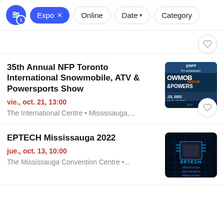Filter bar with: filter icon (1), Expo ×, Online, Date ▾, Category
35th Annual NFP Toronto International Snowmobile, ATV & Powersports Show
vie., oct. 21, 13:00
The International Centre • Mississauga,...
[Figure (photo): NFP Toronto International Snowmobile ATV & Powersports Show banner, dated Jan 19-23, 2022, International Centre]
EPTECH Mississauga 2022
jue., oct. 13, 10:00
The Mississauga Convention Centre •...
[Figure (photo): EPTECH Mississauga 2022 Trade Shows banner with circuit board background]